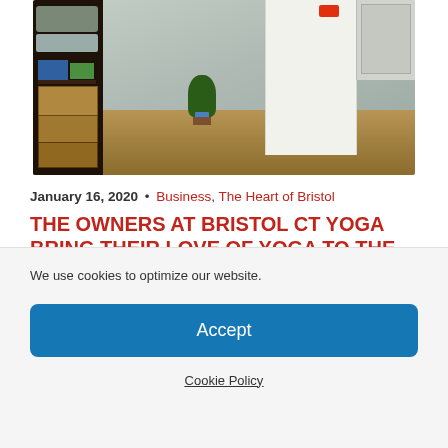[Figure (photo): Interior of a yoga studio showing wooden floors, light grey walls, a dark storage shelf with rolled mats and stacked boxes on the left, a white curtain partition in the background, and a potted plant]
January 16, 2020 • Business, The Heart of Bristol
THE OWNERS AT BRISTOL CT YOGA BRING THEIR LOVE OF YOGA TO THE AL...
We use cookies to optimize our website.
Accept
Cookie Policy